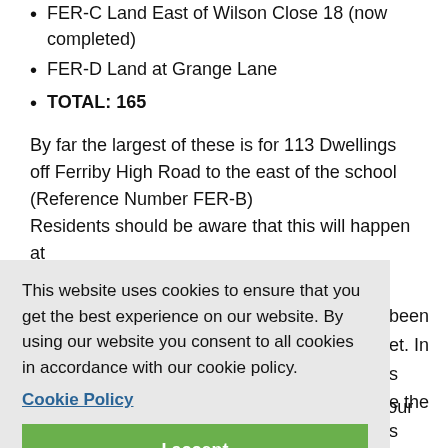FER-C Land East of Wilson Close 18 (now completed)
FER-D Land at Grange Lane
TOTAL: 165
By far the largest of these is for 113 Dwellings off Ferriby High Road to the east of the school (Reference Number FER-B)
Residents should be aware that this will happen at
This website uses cookies to ensure that you get the best experience on our website. By using our website you consent to all cookies in accordance with our cookie policy.
Cookie Policy
I accept
Council will scrutinise the details and endeavour to get